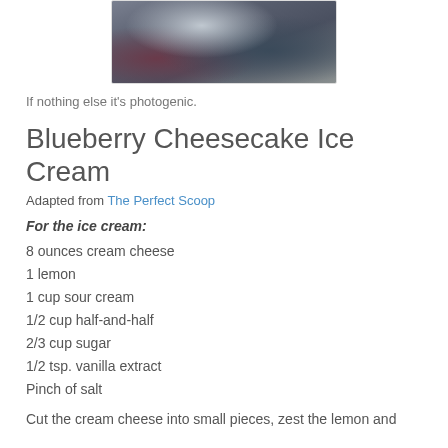[Figure (photo): Close-up photo of a spoon with blueberry ice cream, blurred background with dark and light tones]
If nothing else it's photogenic.
Blueberry Cheesecake Ice Cream
Adapted from The Perfect Scoop
For the ice cream:
8 ounces cream cheese
1 lemon
1 cup sour cream
1/2 cup half-and-half
2/3 cup sugar
1/2 tsp. vanilla extract
Pinch of salt
Cut the cream cheese into small pieces, zest the lemon and